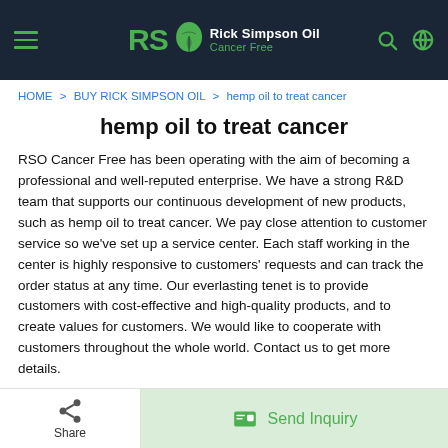Rick Simpson Oil Cancer Free
HOME > BUY RICK SIMPSON OIL > hemp oil to treat cancer
hemp oil to treat cancer
RSO Cancer Free has been operating with the aim of becoming a professional and well-reputed enterprise. We have a strong R&D team that supports our continuous development of new products, such as hemp oil to treat cancer. We pay close attention to customer service so we've set up a service center. Each staff working in the center is highly responsive to customers' requests and can track the order status at any time. Our everlasting tenet is to provide customers with cost-effective and high-quality products, and to create values for customers. We would like to cooperate with customers throughout the whole world. Contact us to get more details.